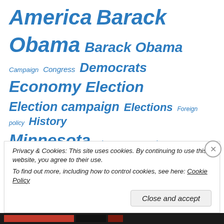[Figure (infographic): Tag cloud with political/news topics in varying blue italic font sizes. Tags include: America, Barack Obama (large), Barack Obama (medium), Campaign, Congress, Democrats, Economy, Election, Election campaign, Elections, Foreign policy, History, Minnesota, Mitt Romney, Music, Politics (largest), Polls, Republicans, Romney, Scandinavians, Supreme Court, Sweden, Terrorism, Travel, USA.]
Categories
Privacy & Cookies: This site uses cookies. By continuing to use this website, you agree to their use.
To find out more, including how to control cookies, see here: Cookie Policy
Close and accept